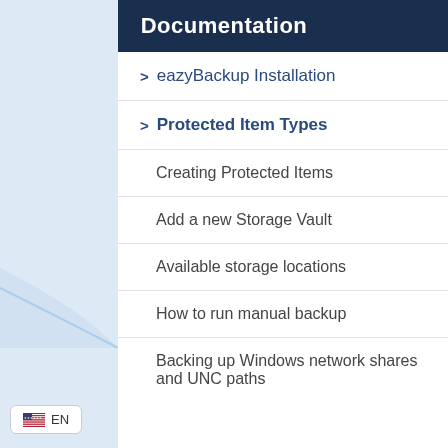Documentation
> eazyBackup Installation
> Protected Item Types
Creating Protected Items
Add a new Storage Vault
Available storage locations
How to run manual backup
Backing up Windows network shares and UNC paths